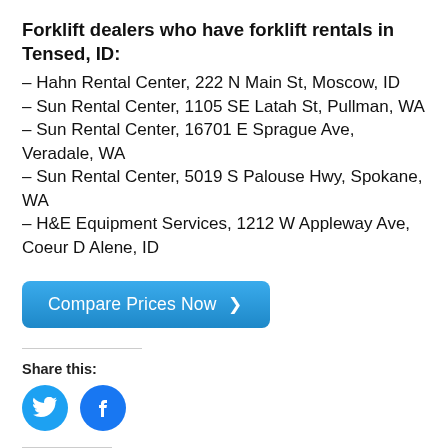Forklift dealers who have forklift rentals in Tensed, ID:
– Hahn Rental Center, 222 N Main St, Moscow, ID
– Sun Rental Center, 1105 SE Latah St, Pullman, WA
– Sun Rental Center, 16701 E Sprague Ave, Veradale, WA
– Sun Rental Center, 5019 S Palouse Hwy, Spokane, WA
– H&E Equipment Services, 1212 W Appleway Ave, Coeur D Alene, ID
[Figure (other): Blue 'Compare Prices Now >' button]
Share this:
[Figure (other): Twitter and Facebook social share icon circles]
Related